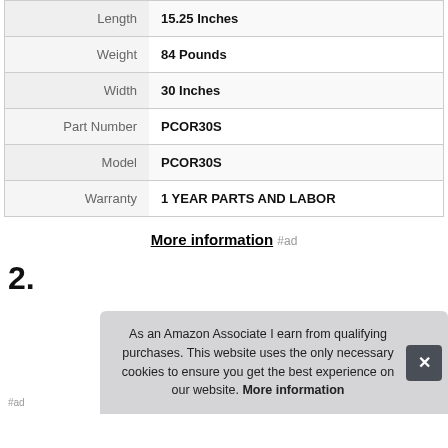| Attribute | Value |
| --- | --- |
| Length | 15.25 Inches |
| Weight | 84 Pounds |
| Width | 30 Inches |
| Part Number | PCOR30S |
| Model | PCOR30S |
| Warranty | 1 YEAR PARTS AND LABOR |
More information #ad
2.
As an Amazon Associate I earn from qualifying purchases. This website uses the only necessary cookies to ensure you get the best experience on our website. More information
#ad